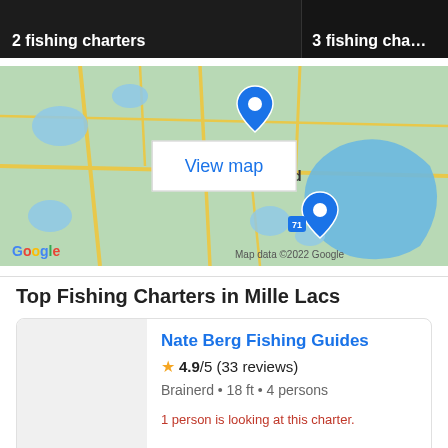[Figure (screenshot): Top strip showing '2 fishing charters' on dark/night background image on left, and partial '3 fishing cha...' on right]
[Figure (map): Google Maps view showing Brainerd and Baxter area in Minnesota with two blue location pins and a 'View map' button overlay. Map data ©2022 Google shown at bottom.]
Top Fishing Charters in Mille Lacs
[Figure (photo): Listing card image placeholder (light gray) for Nate Berg Fishing Guides]
Nate Berg Fishing Guides
4.9/5 (33 reviews)
Brainerd • 18 ft • 4 persons
1 person is looking at this charter.